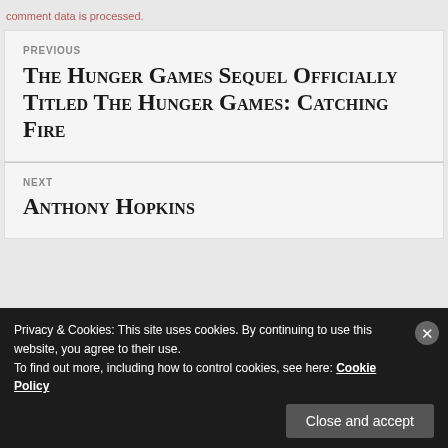comment data is processed.
PREVIOUS
The Hunger Games Sequel Officially Titled The Hunger Games: Catching Fire
NEXT
Anthony Hopkins
Privacy & Cookies: This site uses cookies. By continuing to use this website, you agree to their use.
To find out more, including how to control cookies, see here: Cookie Policy
Close and accept